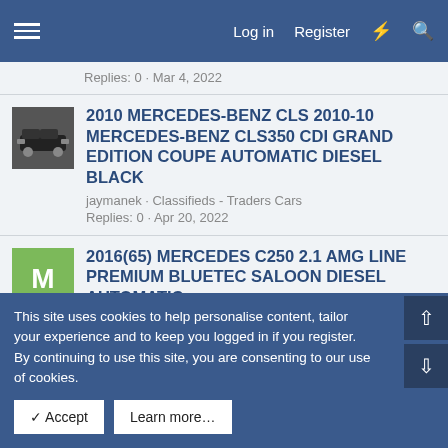Log in  Register
Replies: 0 · Mar 4, 2022
2010 MERCEDES-BENZ CLS 2010-10 MERCEDES-BENZ CLS350 CDI GRAND EDITION COUPE AUTOMATIC DIESEL BLACK
jaymanek · Classifieds - Traders Cars
Replies: 0 · Apr 20, 2022
2016(65) MERCEDES C250 2.1 AMG LINE PREMIUM BLUETEC SALOON DIESEL AUTOMATIC
Mercland · Classifieds - Traders Cars
Replies: 0 · Jan 5, 2022
This site uses cookies to help personalise content, tailor your experience and to keep you logged in if you register.
By continuing to use this site, you are consenting to our use of cookies.